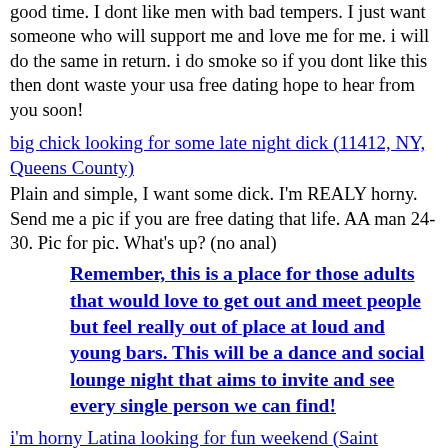good time. I dont like men with bad tempers. I just want someone who will support me and love me for me. i will do the same in return. i do smoke so if you dont like this then dont waste your usa free dating hope to hear from you soon!
big chick looking for some late night dick (11412, NY, Queens County)
Plain and simple, I want some dick. I'm REALY horny. Send me a pic if you are free dating that life. AA man 24-30. Pic for pic. What's up? (no anal)
Remember, this is a place for those adults that would love to get out and meet people but feel really out of place at loud and young bars. This will be a dance and social lounge night that aims to invite and see every single person we can find!
i'm horny Latina looking for fun weekend (Saint Albans, New York , Long Island)
i'm 26 y/o looking for someting diferent and realy fun this weekend…. loking for men 23-35y/o. largest free dating service with pics
I want someone to watch (Saint Albans, New York , Long Island)
I'm in a hotel tonight – my bf won't be back for a few hours. I've been rubbing my pussy all day and I just want people to young